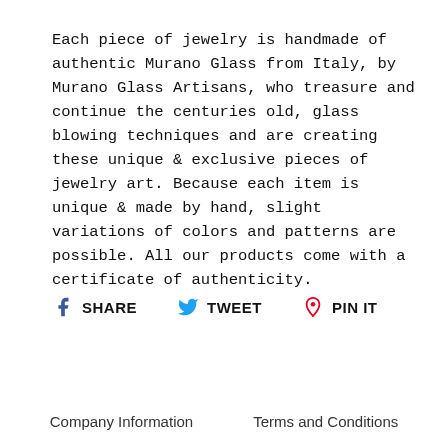Each piece of jewelry is handmade of authentic Murano Glass from Italy, by Murano Glass Artisans, who treasure and continue the centuries old, glass blowing techniques and are creating these unique & exclusive pieces of jewelry art. Because each item is unique & made by hand, slight variations of colors and patterns are possible. All our products come with a certificate of authenticity.
SHARE  TWEET  PIN IT
Company Information    Terms and Conditions